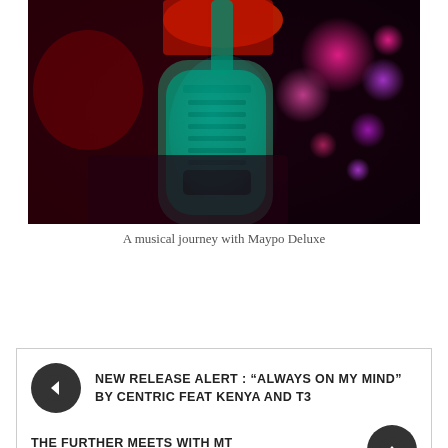[Figure (photo): Person playing an electric guitar on stage with colorful bokeh lights (pink, purple) in the background, lit with teal and red stage lighting]
A musical journey with Maypo Deluxe
NEW RELEASE ALERT : “ALWAYS ON MY MIND” BY CENTRIC FEAT KENYA AND T3
THE FURTHER MEETS WITH MT MOTHERLANDBOY